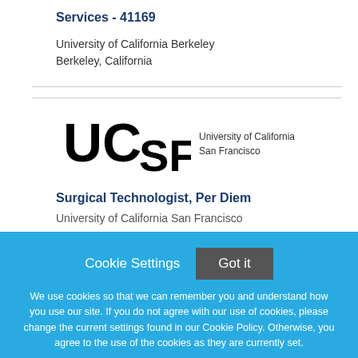Services - 41169
University of California Berkeley
Berkeley, California
[Figure (logo): UCSF University of California San Francisco logo]
Surgical Technologist, Per Diem
University of California San Francisco
Cookie Settings  Got it
We use cookies so that we can remember you and understand how you use our site. If you do not agree with our use of cookies, please change the current settings found in our Cookie Policy. Otherwise, you agree to the use of the cookies as they are currently set.